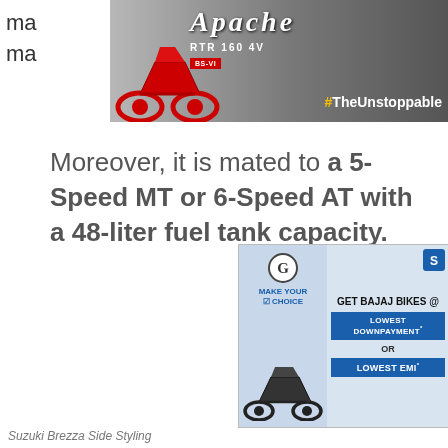[Figure (photo): TVS Apache RTR 160 4V motorcycle advertisement banner with #TheUnstoppable tagline, red motorcycle on grey background]
Moreover, it is mated to a 5-Speed MT or 6-Speed AT with a 48-liter fuel tank capacity.
[Figure (photo): Bajaj Bikes advertisement: Make Your Choice - Get Bajaj Bikes @ Lowest Downpayment or Lowest EMI, showing a black motorcycle]
Suzuki Brezza Side Styling